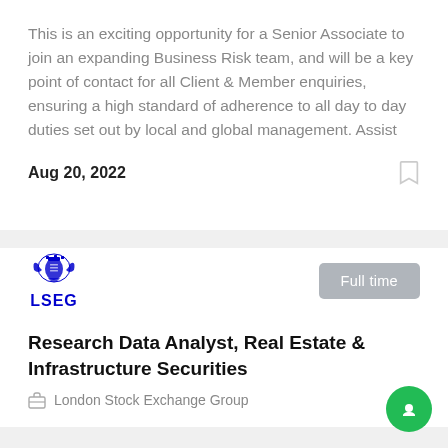This is an exciting opportunity for a Senior Associate to join an expanding Business Risk team, and will be a key point of contact for all Client & Member enquiries, ensuring a high standard of adherence to all day to day duties set out by local and global management. Assist
Aug 20, 2022
[Figure (logo): LSEG logo with blue crest and LSEG text below]
Full time
Research Data Analyst, Real Estate & Infrastructure Securities
London Stock Exchange Group